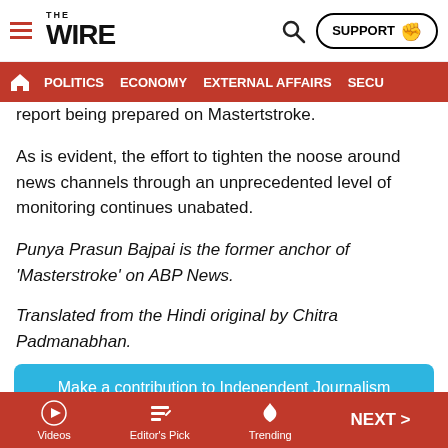THE WIRE — SUPPORT | POLITICS | ECONOMY | EXTERNAL AFFAIRS | SECU…
report being prepared on Mastertstroke.
As is evident, the effort to tighten the noose around news channels through an unprecedented level of monitoring continues unabated.
Punya Prasun Bajpai is the former anchor of 'Masterstroke' on ABP News.
Translated from the Hindi original by Chitra Padmanabhan.
Make a contribution to Independent Journalism
I would like to contribute
Videos | Editor's Pick | Trending | NEXT >